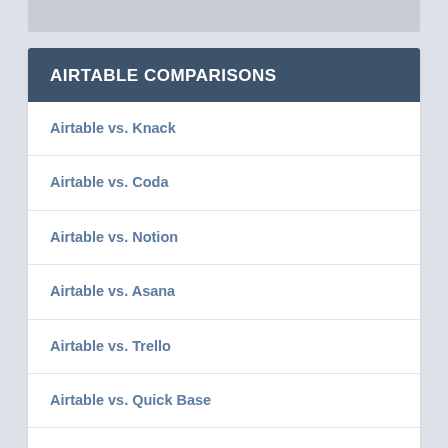AIRTABLE COMPARISONS
Airtable vs. Knack
Airtable vs. Coda
Airtable vs. Notion
Airtable vs. Asana
Airtable vs. Trello
Airtable vs. Quick Base
Airtable vs. Smartsheet